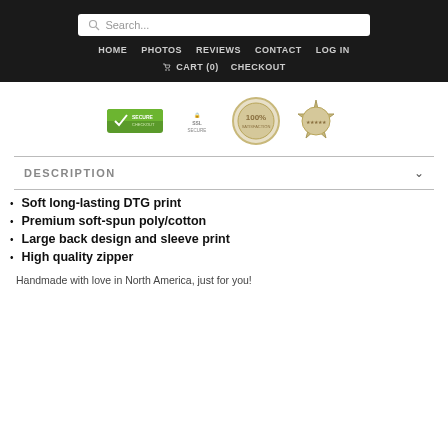Search... | HOME | PHOTOS | REVIEWS | CONTACT | LOG IN | CART (0) | CHECKOUT
[Figure (infographic): Four trust/security badges: a green checkmark badge, SSL SECURE badge, a 100% satisfaction badge, and a star rating badge]
DESCRIPTION
Soft long-lasting DTG print
Premium soft-spun poly/cotton
Large back design and sleeve print
High quality zipper
Handmade with love in North America, just for you!